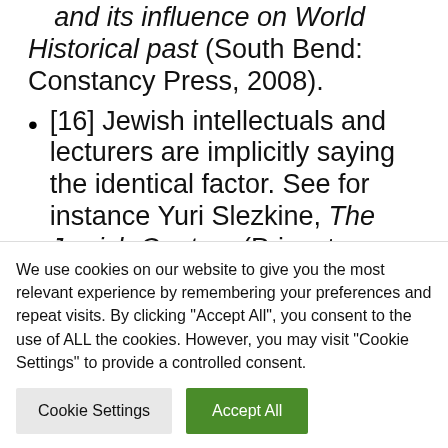and its influence on World Historical past (South Bend: Constancy Press, 2008).
[16] Jewish intellectuals and lecturers are implicitly saying the identical factor. See for instance Yuri Slezkine, The Jewish Century (Princeton: Princeton College Press, 2004).
[17] “US VP Biden lauds Jewish drive for homosexual rights,” Jerusalem Submit, Could 22, 2013; see additionally Rachel Weiner, “Biden:
We use cookies on our website to give you the most relevant experience by remembering your preferences and repeat visits. By clicking “Accept All”, you consent to the use of ALL the cookies. However, you may visit "Cookie Settings" to provide a controlled consent.